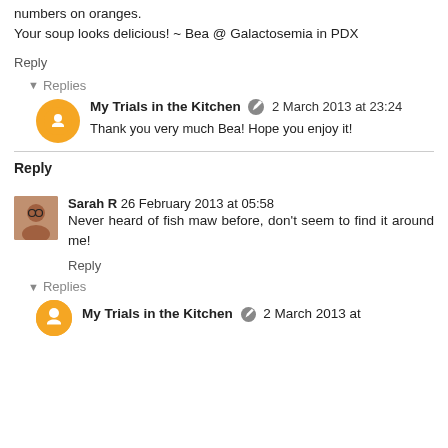numbers on oranges.
Your soup looks delicious! ~ Bea @ Galactosemia in PDX
Reply
▾ Replies
My Trials in the Kitchen 2 March 2013 at 23:24
Thank you very much Bea! Hope you enjoy it!
Reply
Sarah R 26 February 2013 at 05:58
Never heard of fish maw before, don't seem to find it around me!
Reply
▾ Replies
My Trials in the Kitchen 2 March 2013 at